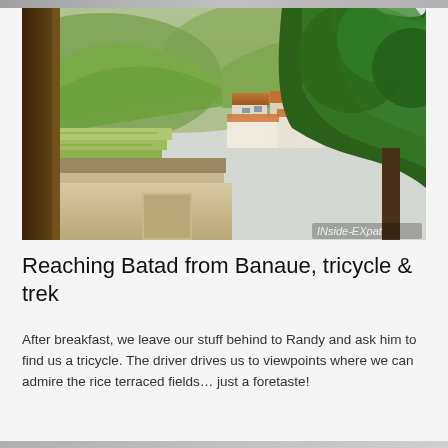[Figure (photo): View through an open wooden window frame showing rice terraced fields, mid-ground buildings with orange roofs, lush green trees on the right, and misty hills in the background. Watermark 'INside-EXpat' in bottom right corner.]
Reaching Batad from Banaue, tricycle & trek
After breakfast, we leave our stuff behind to Randy and ask him to find us a tricycle. The driver drives us to viewpoints where we can admire the rice terraced fields… just a foretaste!